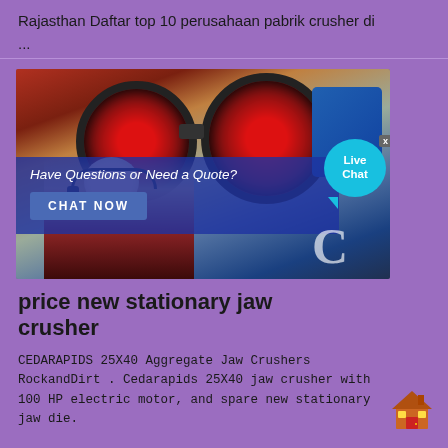Rajasthan Daftar top 10 perusahaan pabrik crusher di
...
[Figure (screenshot): Advertisement image showing industrial crusher machinery with red wheels and blue motor. Overlay shows a customer service representative with headset, text 'Have Questions or Need a Quote?', a 'CHAT NOW' button, a 'Live Chat' bubble, and a 'C' logo.]
price new stationary jaw crusher
CEDARAPIDS 25X40 Aggregate Jaw Crushers RockandDirt . Cedarapids 25X40 jaw crusher with 100 HP electric motor, and spare new stationary jaw die.